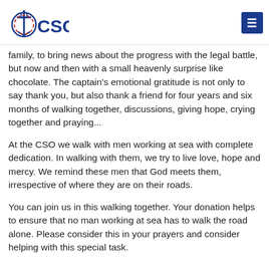CSO (logo with cross and anchor)
family, to bring news about the progress with the legal battle, but now and then with a small heavenly surprise like chocolate. The captain's emotional gratitude is not only to say thank you, but also thank a friend for four years and six months of walking together, discussions, giving hope, crying together and praying...
At the CSO we walk with men working at sea with complete dedication. In walking with them, we try to live love, hope and mercy. We remind these men that God meets them, irrespective of where they are on their roads.
You can join us in this walking together. Your donation helps to ensure that no man working at sea has to walk the road alone. Please consider this in your prayers and consider helping with this special task.